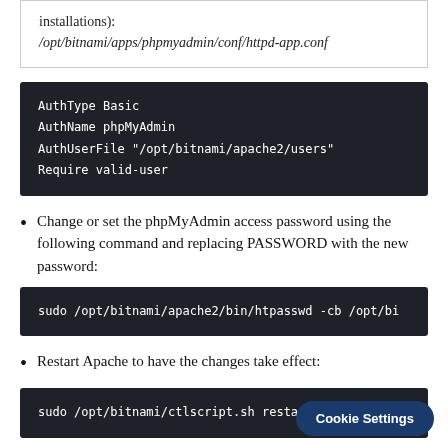installations):
/opt/bitnami/apps/phpmyadmin/conf/httpd-app.conf
AuthType Basic
AuthName phpMyAdmin
AuthUserFile "/opt/bitnami/apache2/users"
Require valid-user
Change or set the phpMyAdmin access password using the following command and replacing PASSWORD with the new password:
sudo /opt/bitnami/apache2/bin/htpasswd -cb /opt/bi
Restart Apache to have the changes take effect:
sudo /opt/bitnami/ctlscript.sh restart apache